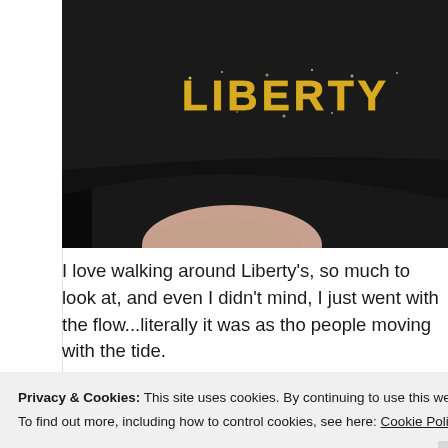[Figure (photo): Close-up photograph of a black hat or bag with 'LIBERTY' written in gold glittery letters. A pale/skin-toned surface is visible below the black fabric.]
I love walking around Liberty's, so much to look at, and even I didn't mind, I just went with the flow...literally it was as tho people moving with the tide.
Privacy & Cookies: This site uses cookies. By continuing to use this website, you agree to their use.
To find out more, including how to control cookies, see here: Cookie Policy
Close and accept